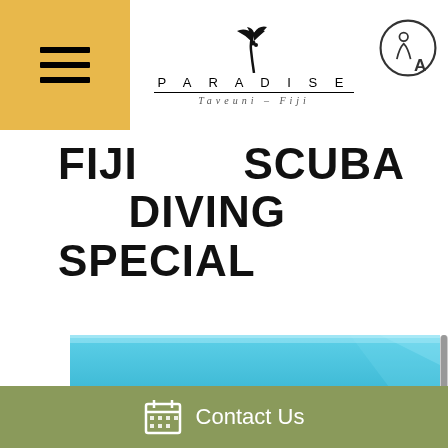Paradise Taveuni – Fiji
FIJI SCUBA DIVING SPECIAL
[Figure (photo): Underwater scuba diving photo showing vibrant pink and red soft coral formations in the foreground with a scuba diver visible in the background against a bright blue ocean.]
Contact Us